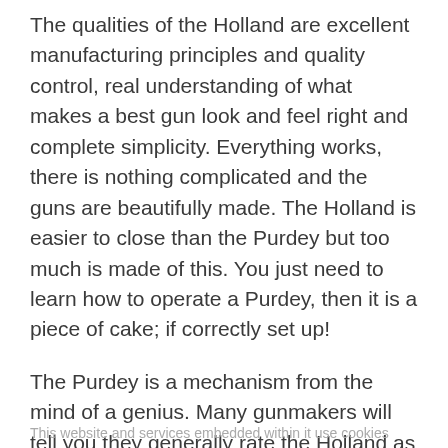The qualities of the Holland are excellent manufacturing principles and quality control, real understanding of what makes a best gun look and feel right and complete simplicity. Everything works, there is nothing complicated and the guns are beautifully made. The Holland is easier to close than the Purdey but too much is made of this. You just need to learn how to operate a Purdey, then it is a piece of cake; if correctly set up!
The Purdey is a mechanism from the mind of a genius. Many gunmakers will tell you they generally rate the Holland as better because it is simple and utterly reliable, easy to work on and much copied. To a functional engineering mind, it all makes perfect sense. To someone repairing or making a gun, it is infinitely preferable.
This website and services embedded within it use cookies